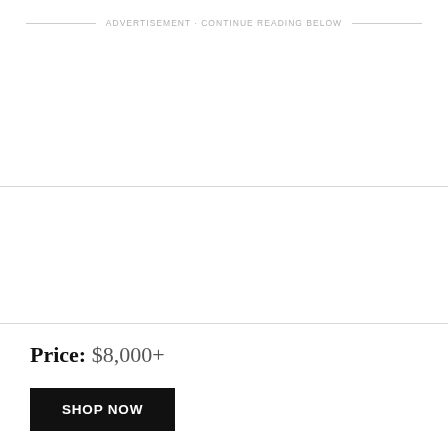ADVERTISEMENT · CONTINUE READING BELOW
Price: $8,000+
SHOP NOW